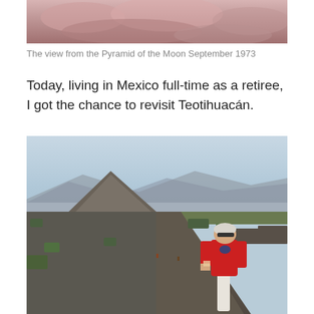[Figure (photo): Cropped top portion of a photo showing a reddish-pink landscape view from the Pyramid of the Moon, September 1973]
The view from the Pyramid of the Moon September 1973
Today, living in Mexico full-time as a retiree, I got the chance to revisit Teotihuacán.
[Figure (photo): A woman in a red long-sleeve shirt and white pants standing at Teotihuacán, holding something small, with the Avenue of the Dead and Pyramid of the Moon visible behind her under a hazy sky]